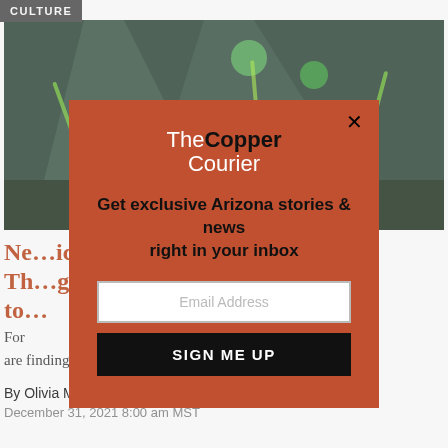CULTURE
[Figure (photo): Theater stage performance with performers in costumes with colorful props and lighting]
Ne[…]ic, Th[…]g to[…]
For[…]nies are finding ways to make sure the show goes on.
[Figure (infographic): The Copper Courier newsletter signup modal overlay with email input and Sign Me Up button]
By Olivia Munson
December 31, 2021 8:00 am MST